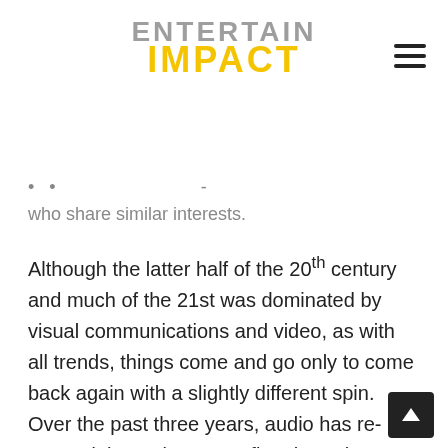ENTERTAIN IMPACT
who share similar interests.
Although the latter half of the 20th century and much of the 21st was dominated by visual communications and video, as with all trends, things come and go only to come back again with a slightly different spin. Over the past three years, audio has re-entered the mainstream, first through podcasts and now with live voice-based social media. Case in point: streaming of audio programs and content from smartphones jumped 21 percent between Q1 2018 and Q1 2020 (Source: eMarketer).